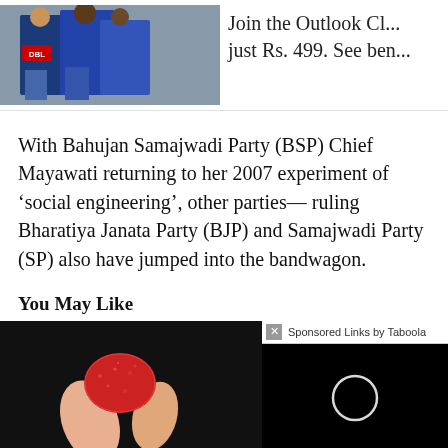[Figure (photo): A photo of people wearing cricket jerseys, partially visible, with a blue jersey showing 'DBL' logo.]
Join the Outlook Cl... just Rs. 499. See ben...
With Bahujan Samajwadi Party (BSP) Chief Mayawati returning to her 2007 experiment of 'social engineering', other parties— ruling Bharatiya Janata Party (BJP) and Samajwadi Party (SP) also have jumped into the bandwagon.
You May Like
Sponsored Links by Taboola
[Figure (photo): A close-up photo of a red sugary candy/gummy being held between two fingers against a dark background.]
[Figure (photo): A dark video thumbnail with a white loading circle in the center on a black background.]